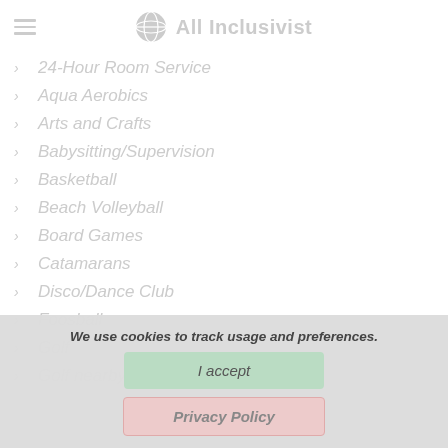All Inclusivist
24-Hour Room Service
Aqua Aerobics
Arts and Crafts
Babysitting/Supervision
Basketball
Beach Volleyball
Board Games
Catamarans
Disco/Dance Club
Foosball
Golf
Golf nearby
We use cookies to track usage and preferences.
I accept
Privacy Policy